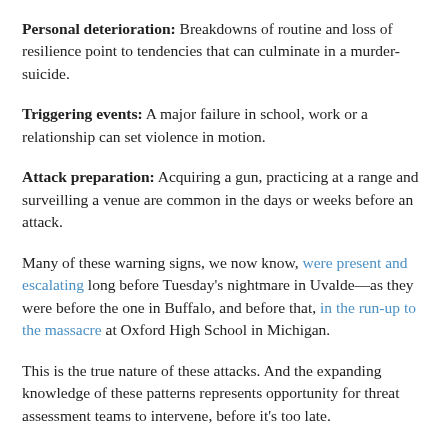Personal deterioration: Breakdowns of routine and loss of resilience point to tendencies that can culminate in a murder-suicide.
Triggering events: A major failure in school, work or a relationship can set violence in motion.
Attack preparation: Acquiring a gun, practicing at a range and surveilling a venue are common in the days or weeks before an attack.
Many of these warning signs, we now know, were present and escalating long before Tuesday's nightmare in Uvalde—as they were before the one in Buffalo, and before that, in the run-up to the massacre at Oxford High School in Michigan.
This is the true nature of these attacks. And the expanding knowledge of these patterns represents opportunity for threat assessment teams to intervene, before it's too late.
Diminishing this American nightmare is going to take many different forms of action: continuing a relentless, long-term